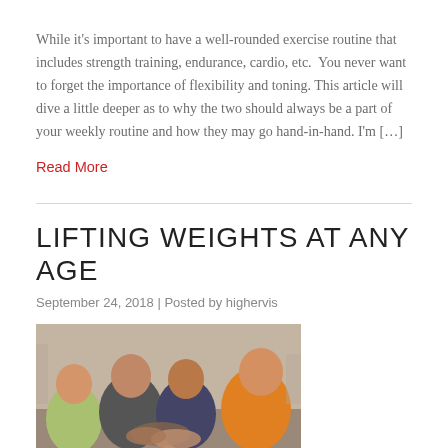While it's important to have a well-rounded exercise routine that includes strength training, endurance, cardio, etc.  You never want to forget the importance of flexibility and toning. This article will dive a little deeper as to why the two should always be a part of your weekly routine and how they may go hand-in-hand. I'm […]
Read More
LIFTING WEIGHTS AT ANY AGE
September 24, 2018 | Posted by highervis
[Figure (photo): Group of people of different ages doing a workout together, reaching hands into the center in a team huddle gesture. Person in orange shirt visible on right.]